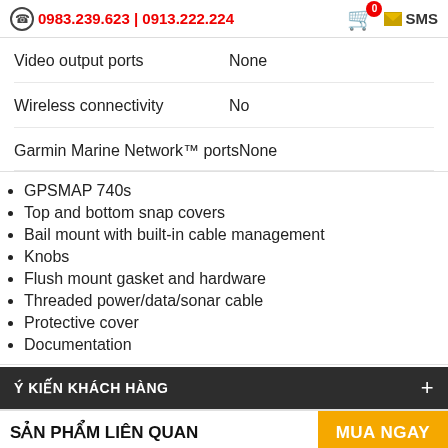0983.239.623 | 0913.222.224  SMS
| Video output ports | None |
| Wireless connectivity | No |
| Garmin Marine Network™ ports | None |
GPSMAP 740s
Top and bottom snap covers
Bail mount with built-in cable management
Knobs
Flush mount gasket and hardware
Threaded power/data/sonar cable
Protective cover
Documentation
Ý KIẾN KHÁCH HÀNG
SẢN PHẨM LIÊN QUAN
Máy định vị vệ tinh Garmin etrox 10...